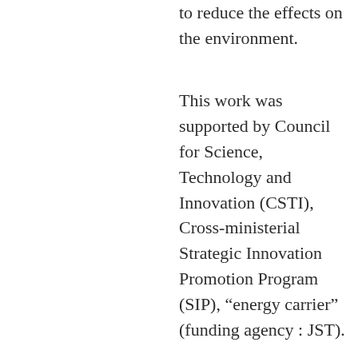to reduce the effects on the environment.
This work was supported by Council for Science, Technology and Innovation (CSTI), Cross-ministerial Strategic Innovation Promotion Program (SIP), “energy carrier” (funding agency : JST).